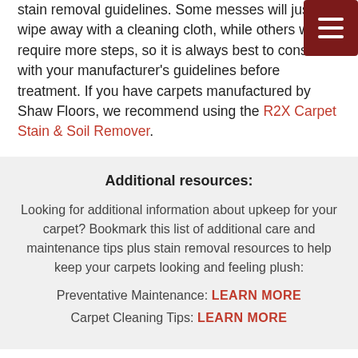stain removal guidelines. Some messes will just wipe away with a cleaning cloth, while others will require more steps, so it is always best to consult with your manufacturer's guidelines before treatment. If you have carpets manufactured by Shaw Floors, we recommend using the R2X Carpet Stain & Soil Remover.
Additional resources:
Looking for additional information about upkeep for your carpet? Bookmark this list of additional care and maintenance tips plus stain removal resources to help keep your carpets looking and feeling plush:
Preventative Maintenance: LEARN MORE
Carpet Cleaning Tips: LEARN MORE